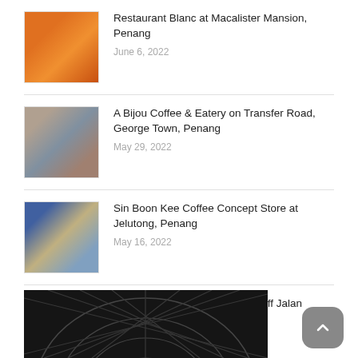Restaurant Blanc at Macalister Mansion, Penang
June 6, 2022
A Bijou Coffee & Eatery on Transfer Road, George Town, Penang
May 29, 2022
Sin Boon Kee Coffee Concept Store at Jelutong, Penang
May 16, 2022
Chu Bee Cafe at Jalan Masjid Off Jalan Chulia, George Town, Penang
May 10, 2022
Holiday / Travel
[Figure (photo): Black and white architectural photo of a domed glass/metal ceiling structure viewed from below]